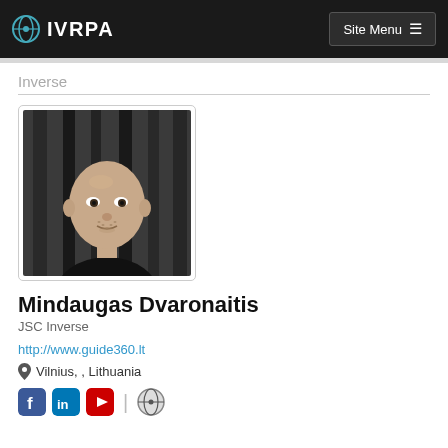IVRPA  Site Menu
Inverse
[Figure (photo): Headshot photo of a bald man with light stubble wearing a black shirt, against a dark striped background]
Mindaugas Dvaronaitis
JSC Inverse
http://www.guide360.lt
Vilnius, , Lithuania
Social media icons: Facebook, LinkedIn, YouTube | IVRPA icon